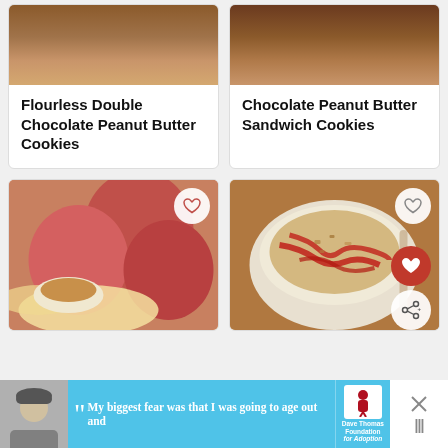Flourless Double Chocolate Peanut Butter Cookies
Chocolate Peanut Butter Sandwich Cookies
[Figure (photo): Photo of apple slices with peanut butter crumble dip and whole apples in background]
[Figure (photo): Photo of oatmeal in a bowl topped with red jam/strawberry sauce and granola, with a spoon]
[Figure (photo): Advertisement banner showing a person in winter hat with quote text and Dave Thomas Foundation for Adoption logo]